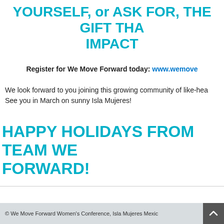YOURSELF, or ASK FOR, THE GIFT THA... IMPACT
Register for We Move Forward today: www.wemove...
We look forward to you joining this growing community of like-hea... See you in March on sunny Isla Mujeres!
HAPPY HOLIDAYS FROM TEAM WE FORWARD!
© We Move Forward Women's Conference, Isla Mujeres Mexic...